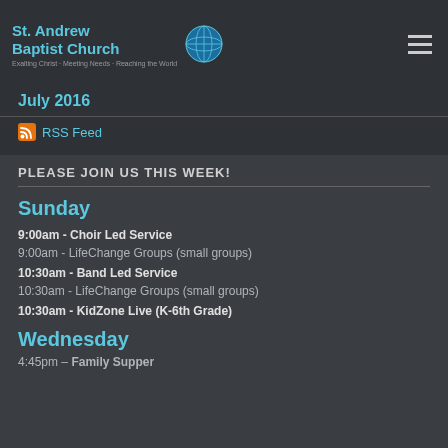St. Andrew Baptist Church — Exalting Christ · Meeting Needs · Reaching the World
July 2016
RSS Feed
PLEASE JOIN US THIS WEEK!
Sunday
9:00am - Choir Led Service
9:00am - LifeChange Groups (small groups)
10:30am - Band Led Service
10:30am - LifeChange Groups (small groups)
10:30am - KidZone Live (K-6th Grade)
Wednesday
4:45pm – Family Supper